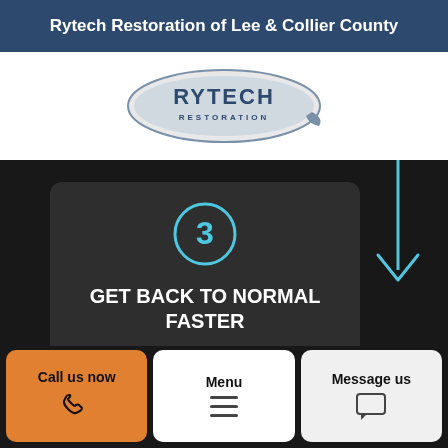Rytech Restoration of Lee & Collier County
[Figure (logo): Rytech Restoration logo — oval shaped badge with the word RYTECH in large letters and RESTORATION below in a blue/grey oval]
[Figure (infographic): Step 3 card on dark background showing a circled number 3 in cyan, a cyan downward arrow on the right, heading GET BACK TO NORMAL FASTER, and partial text 'Once your disaster recovery plan has been']
GET BACK TO NORMAL FASTER
Once your disaster recovery plan has been
Call us now
Menu
Message us